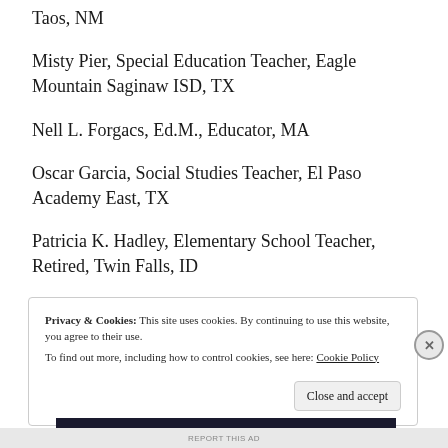Taos, NM
Misty Pier, Special Education Teacher, Eagle Mountain Saginaw ISD, TX
Nell L. Forgacs, Ed.M., Educator, MA
Oscar Garcia, Social Studies Teacher, El Paso Academy East, TX
Patricia K. Hadley, Elementary School Teacher, Retired, Twin Falls, ID
Privacy & Cookies: This site uses cookies. By continuing to use this website, you agree to their use. To find out more, including how to control cookies, see here: Cookie Policy
REPORT THIS AD